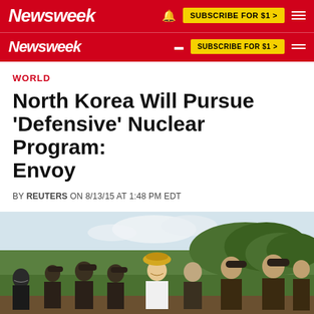Newsweek — SUBSCRIBE FOR $1 >
WORLD
North Korea Will Pursue 'Defensive' Nuclear Program: Envoy
BY REUTERS ON 8/13/15 AT 1:48 PM EDT
[Figure (photo): Group of people including military officers and a man in a white shirt and straw hat, smiling outdoors near a cornfield]